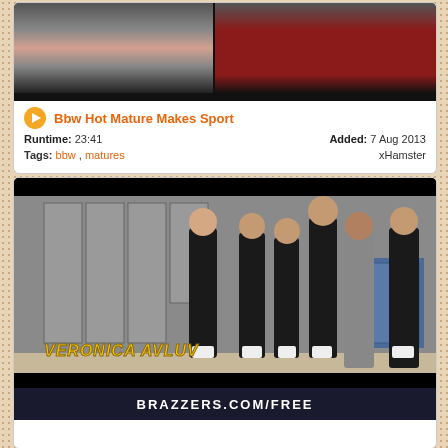[Figure (screenshot): Video thumbnail showing dimly lit scene with dark background]
Bbw Hot Mature Makes Sport
Runtime: 23:41   Added: 7 Aug 2013
Tags: bbw , matures   xHamster
[Figure (screenshot): Video thumbnail showing group of people in locker room, text VERONICA AVLUV overlaid, BRAZZERS.COM/FREE at bottom]